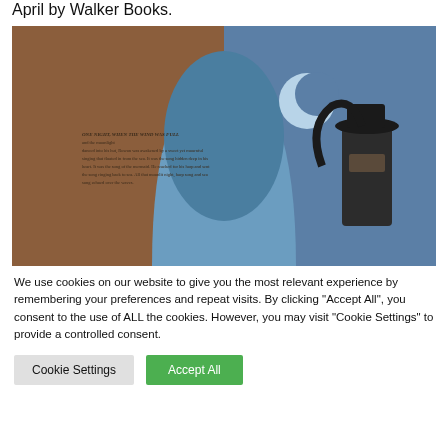April by Walker Books.
[Figure (illustration): Illustration from a children's picture book showing a boy wearing a hat looking out through an arched window at a night sky with a crescent moon. The left side shows book text on a brown/warm background. The right side shows a blue night sky scene.]
We use cookies on our website to give you the most relevant experience by remembering your preferences and repeat visits. By clicking "Accept All", you consent to the use of ALL the cookies. However, you may visit "Cookie Settings" to provide a controlled consent.
Cookie Settings
Accept All